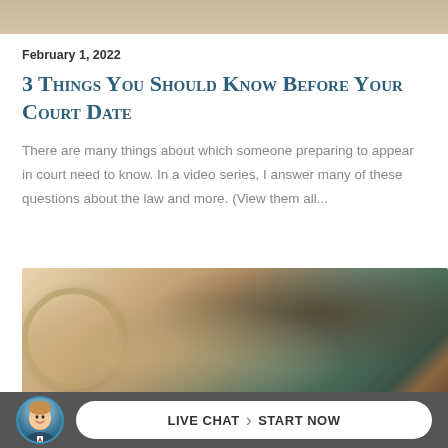[Figure (photo): Top partial image, cropped at top edge — appears to show a light-colored surface]
February 1, 2022
3 Things You Should Know Before Your Court Date
There are many things about which someone preparing to appear in court need to know. In a video series, I answer many of these questions about the law and more. (View them all...
[Figure (photo): Photo of a stethoscope and a judge's gavel resting on law books on a wooden table — medical and legal items together]
[Figure (photo): Live chat bar at the bottom: circular avatar of a smiling young man, and a white pill-shaped button reading LIVE CHAT > START NOW]